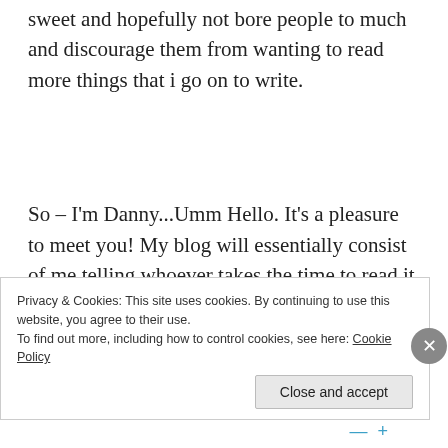sweet and hopefully not bore people to much and discourage them from wanting to read more things that i go on to write.
So – I'm Danny...Umm Hello. It's a pleasure to meet you! My blog will essentially consist of me telling whoever takes the time to read it, about my strange journey from being an Army Infantry Soldier of 10+ years to now starting out a career in Software Testing.
Privacy & Cookies: This site uses cookies. By continuing to use this website, you agree to their use.
To find out more, including how to control cookies, see here: Cookie Policy
Close and accept